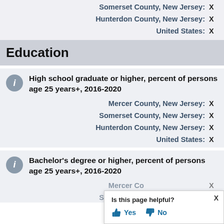Somerset County, New Jersey: X
Hunterdon County, New Jersey: X
United States: X
Education
High school graduate or higher, percent of persons age 25 years+, 2016-2020
Mercer County, New Jersey: X
Somerset County, New Jersey: X
Hunterdon County, New Jersey: X
United States: X
Bachelor's degree or higher, percent of persons age 25 years+, 2016-2020
Mercer County, New Jersey: X
Somerset County, New Jersey:
[Figure (other): Is this page helpful? Yes / No popup overlay]